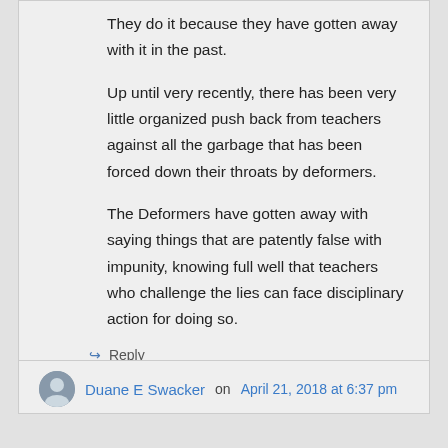They do it because they have gotten away with it in the past.
Up until very recently, there has been very little organized push back from teachers against all the garbage that has been forced down their throats by deformers.
The Deformers have gotten away with saying things that are patently false with impunity, knowing full well that teachers who challenge the lies can face disciplinary action for doing so.
↪ Reply
Duane E Swacker on April 21, 2018 at 6:37 pm